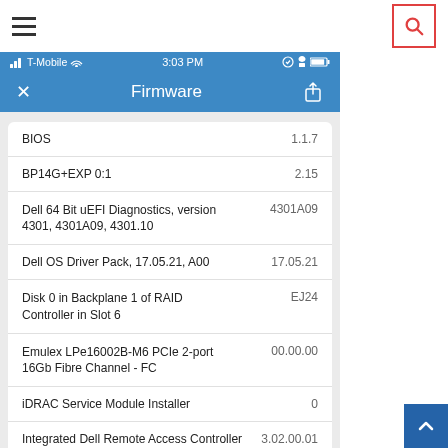[Figure (screenshot): Mobile app screenshot showing a Firmware list screen with component names and version numbers on an iOS device with T-Mobile carrier, time 3:03 PM. Components listed: BIOS 1.1.7, BP14G+EXP 0:1 2.15, Dell 64 Bit uEFI Diagnostics version 4301 4301A09 4301.10 → 4301A09, Dell OS Driver Pack 17.05.21 A00 → 17.05.21, Disk 0 in Backplane 1 of RAID Controller in Slot 6 → EJ24, Emulex LPe16002B-M6 PCIe 2-port 16Gb Fibre Channel - FC → 00.00.00, iDRAC Service Module Installer → 0, Integrated Dell Remote Access Controller → 3.02.00.01, Lifecycle Controller → 3.02.00.01]